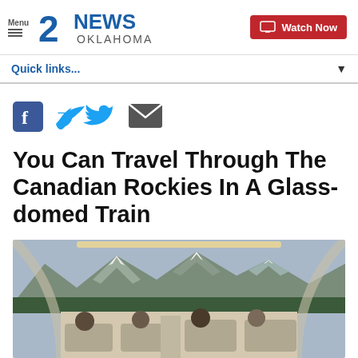Menu | 2NEWS OKLAHOMA | Watch Now
Quick links...
[Figure (illustration): Social sharing icons: Facebook, Twitter, Email]
You Can Travel Through The Canadian Rockies In A Glass-domed Train
[Figure (photo): Interior of a glass-domed train car with passengers seated, looking out at Canadian Rocky Mountain scenery with mountains, trees, and cloudy sky visible through the glass dome ceiling.]